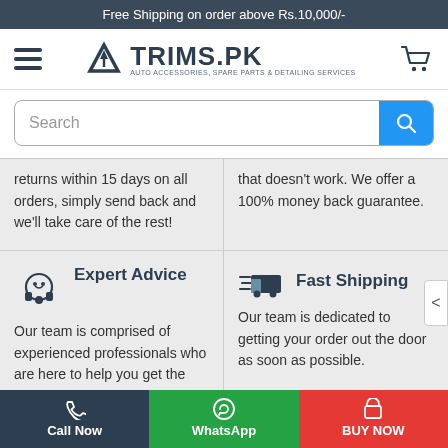Free Shipping on order above Rs.10,000/-
[Figure (logo): TRIMS.PK logo with upward arrow icon and tagline: AUTO ACCESSORIES, SPARE PARTS & DETAILING SERVICES]
Search
returns within 15 days on all orders, simply send back and we'll take care of the rest!
that doesn't work. We offer a 100% money back guarantee.
Expert Advice
Our team is comprised of experienced professionals who are here to help you get the right product & best value for your money.
Fast Shipping
Our team is dedicated to getting your order out the door as soon as possible.
Stay In The Loop
Call Now
WhatsApp
BUY NOW